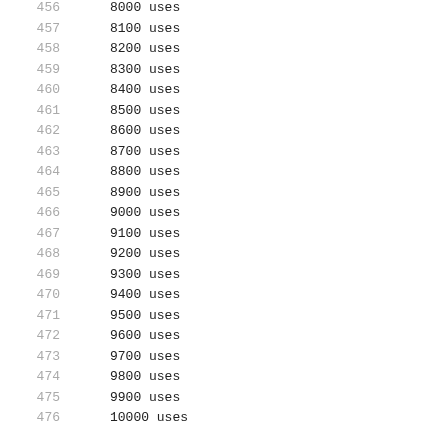456    8000 uses
457    8100 uses
458    8200 uses
459    8300 uses
460    8400 uses
461    8500 uses
462    8600 uses
463    8700 uses
464    8800 uses
465    8900 uses
466    9000 uses
467    9100 uses
468    9200 uses
469    9300 uses
470    9400 uses
471    9500 uses
472    9600 uses
473    9700 uses
474    9800 uses
475    9900 uses
476    10000 uses